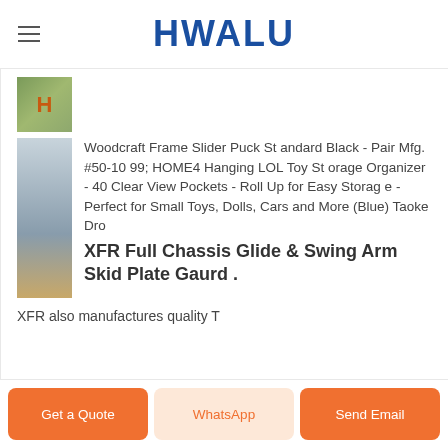HWALU
[Figure (photo): Small thumbnail image with green background and orange letter H logo]
Woodcraft Frame Slider Puck Standard Black - Pair Mfg. #50-1099; HOME4 Hanging LOL Toy Storage Organizer - 40 Clear View Pockets - Roll Up for Easy Storage - Perfect for Small Toys, Dolls, Cars and More (Blue) Taoke Dro
[Figure (photo): Product photo showing industrial aluminum extrusion machinery in a warehouse/factory setting]
XFR Full Chassis Glide & Swing Arm Skid Plate Gaurd .
XFR also manufactures quality T
Get a Quote | WhatsApp | Send Email